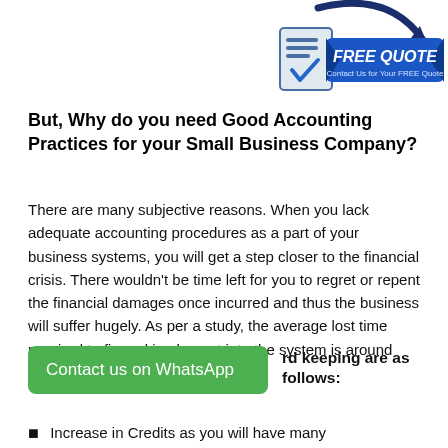[Figure (logo): FREE QUOTE badge with a document/clipboard icon and an arrow, blue banner saying FREE QUOTE and Contact Us for Your FREE Quote]
But, Why do you need Good Accounting Practices for your Small Business Company?
There are many subjective reasons. When you lack adequate accounting procedures as a part of your business systems, you will get a step closer to the financial crisis. There wouldn't be time left for you to regret or repent the financial damages once incurred and thus the business will suffer hugely. As per a study, the average lost time required to fix and implement into the system is around 200 hours or even more.
rd keeping are as follows:
[Figure (other): Contact us on WhatsApp green button]
Increase in Credits as you will have many